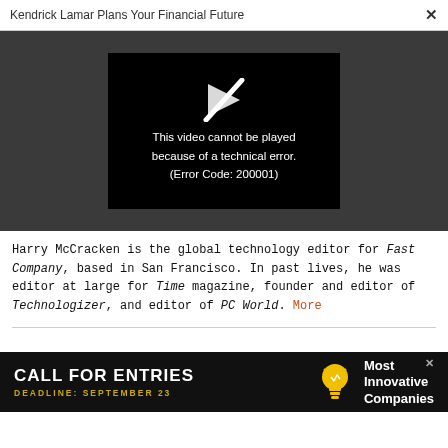Kendrick Lamar Plans Your Financial Future
[Figure (screenshot): Video player showing error: 'This video cannot be played because of a technical error. (Error Code: 200001)' with a broken play button icon on black background, on dark grey background.]
Harry McCracken is the global technology editor for Fast Company, based in San Francisco. In past lives, he was editor at large for Time magazine, founder and editor of Technologizer, and editor of PC World. More
[Figure (infographic): Advertisement banner: CALL FOR ENTRIES, DEADLINE: SEPTEMBER 23, Most Innovative Companies, with a yellow lightbulb icon on dark background.]